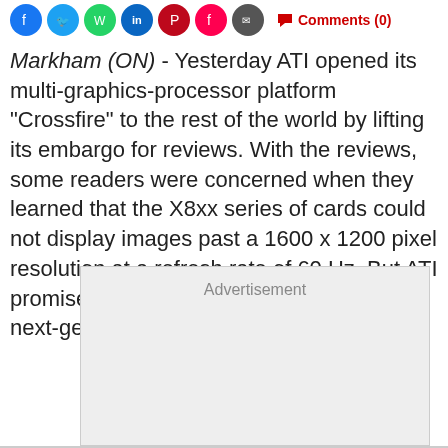Social share icons and Comments (0)
Markham (ON) - Yesterday ATI opened its multi-graphics-processor platform "Crossfire" to the rest of the world by lifting its embargo for reviews. With the reviews, some readers were concerned when they learned that the X8xx series of cards could not display images past a 1600 x 1200 pixel resolution at a refresh rate of 60 Hz. But ATI promises to remove that limitation with its next-generation graphic chip.
[Figure (other): Advertisement placeholder box]